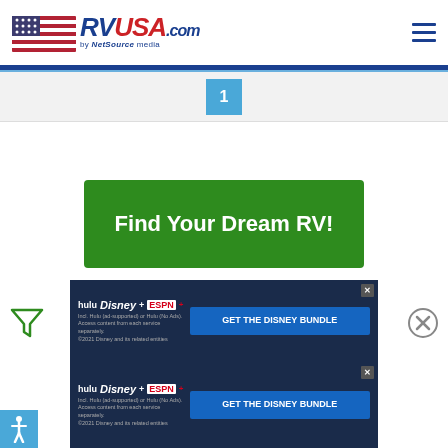[Figure (logo): RVUSA.com by NetSource media logo with American flag graphic]
[Figure (other): Hamburger menu icon (three horizontal lines) in dark blue]
1
[Figure (other): Green CTA button reading 'Find Your Dream RV!']
[Figure (other): Filter/funnel icon in green]
[Figure (other): Close X circle icon]
[Figure (other): Disney Bundle advertisement banner - hulu Disney+ ESPN+ GET THE DISNEY BUNDLE. Incl. Hulu (ad-supported) or Hulu (No Ads). Access content from each service separately. ©2021 Disney and its related entities]
[Figure (other): Second Disney Bundle advertisement banner - hulu Disney+ ESPN+ GET THE DISNEY BUNDLE. Incl. Hulu (ad-supported) or Hulu (No Ads). Access content from each service separately. ©2021 Disney and its related entities]
[Figure (other): Accessibility icon (person symbol) on light blue background]